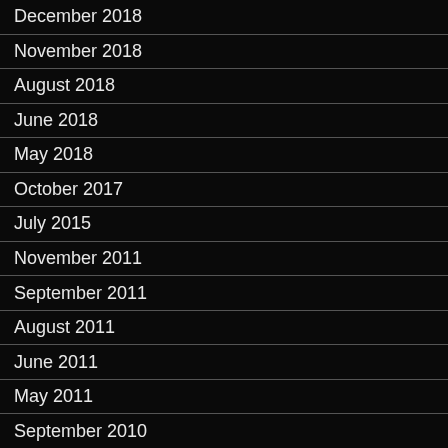December 2018
November 2018
August 2018
June 2018
May 2018
October 2017
July 2015
November 2011
September 2011
August 2011
June 2011
May 2011
September 2010